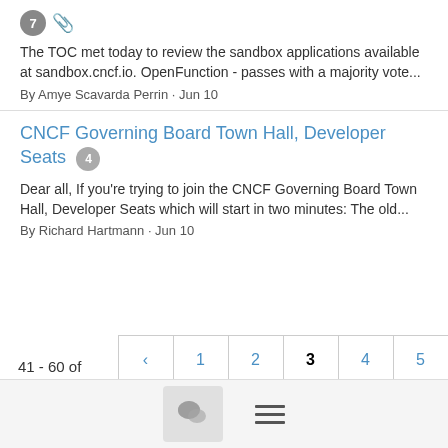7 [clip icon] The TOC met today to review the sandbox applications available at sandbox.cncf.io. OpenFunction - passes with a majority vote... By Amye Scavarda Perrin · Jun 10
CNCF Governing Board Town Hall, Developer Seats [4]
Dear all, If you're trying to join the CNCF Governing Board Town Hall, Developer Seats which will start in two minutes: The old... By Richard Hartmann · Jun 10
41 - 60 of 1228
Pagination: < 1 2 3 4 5 6 7 8 9 >
[Figure (screenshot): Bottom navigation bar with chat bubble icon button and hamburger menu icon]